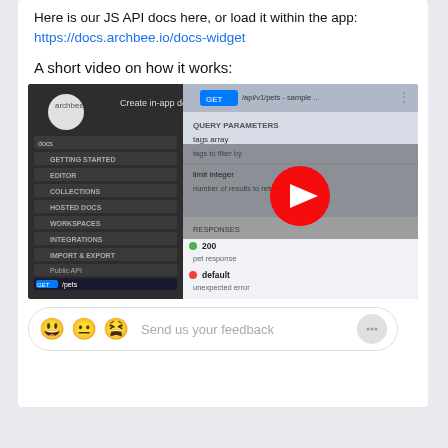Here is our JS API docs here, or load it within the app: https://docs.archbee.io/docs-widget
A short video on how it works:
[Figure (screenshot): YouTube video thumbnail showing Archbee in-app documentation interface with navigation panel and API docs, title: Create in-app documentation...]
[Figure (other): Feedback bar with emoji faces (happy, neutral, tired) and Send us your feedback input field]